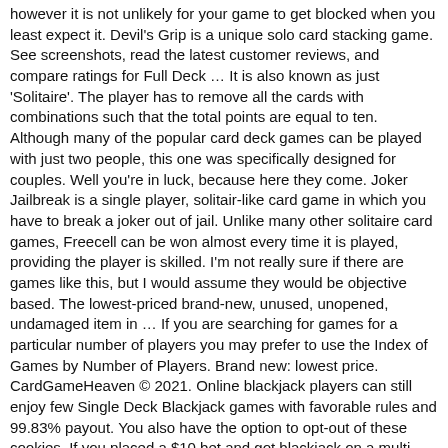however it is not unlikely for your game to get blocked when you least expect it. Devil's Grip is a unique solo card stacking game. See screenshots, read the latest customer reviews, and compare ratings for Full Deck … It is also known as just 'Solitaire'. The player has to remove all the cards with combinations such that the total points are equal to ten. Although many of the popular card deck games can be played with just two people, this one was specifically designed for couples. Well you're in luck, because here they come. Joker Jailbreak is a single player, solitair-like card game in which you have to break a joker out of jail. Unlike many other solitaire card games, Freecell can be won almost every time it is played, providing the player is skilled. I'm not really sure if there are games like this, but I would assume they would be objective based. The lowest-priced brand-new, unused, unopened, undamaged item in … If you are searching for games for a particular number of players you may prefer to use the Index of Games by Number of Players. Brand new: lowest price. CardGameHeaven © 2021. Online blackjack players can still enjoy few Single Deck Blackjack games with favorable rules and 99.83% payout. You also have the option to opt-out of these cookies. If you placed a $10 bet and got blackjack on a multi-card game with 3:2 payout you'd walk away with $15, whereas you'd only get $12 for a single-deck game with a 6:5 payout. Foundation piles begin with the ace and end with the king. Would you like to write for us? 2. The player who has the highest card wins that round. Well, we're looking for good writers who want to spread the word. This list may not reflect recent changes . Jump to navigation Jump to search. You may only move cards off the waste pile, but you may onto and off the foundations. Step 3: Deal cards as needed. Of facedown cards in a column, the leftmost is placed on the desktop and the desktop is used the